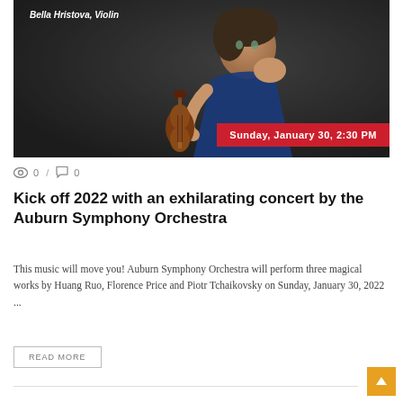[Figure (photo): Concert promotional image showing a woman (Bella Hristova) holding a violin against a dark background, with text 'Bella Hristova, Violin' at top and a red banner 'Sunday, January 30, 2:30 PM' at bottom right]
0 / 0
Kick off 2022 with an exhilarating concert by the Auburn Symphony Orchestra
This music will move you! Auburn Symphony Orchestra will perform three magical works by Huang Ruo, Florence Price and Piotr Tchaikovsky on Sunday, January 30, 2022 ...
READ MORE